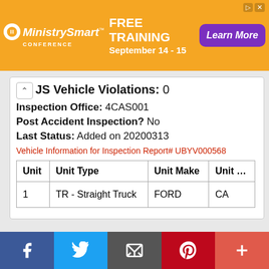[Figure (other): MinistrySmart Conference advertisement banner with orange background, logo, FREE TRAINING September 14-15, and Learn More button]
JS Vehicle Violations: 0
Inspection Office: 4CAS001
Post Accident Inspection? No
Last Status: Added on 20200313
Vehicle Information for Inspection Report# UBYV000568
| Unit | Unit Type | Unit Make | Unit ... |
| --- | --- | --- | --- |
| 1 | TR - Straight Truck | FORD | CA |
Facebook | Twitter | Email | Pinterest | More